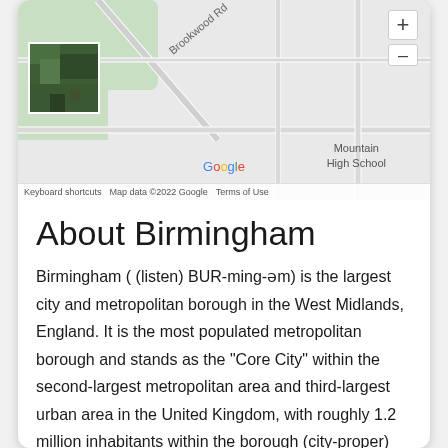[Figure (map): Google Maps screenshot showing a street map with Brookwood Rd label, Mountain High School label, a satellite thumbnail in the lower left, zoom controls (+/-) in the upper right, and Google branding. Map footer shows: Keyboard shortcuts, Map data ©2022 Google, Terms of Use.]
About Birmingham
Birmingham ( (listen) BUR-ming-əm) is the largest city and metropolitan borough in the West Midlands, England. It is the most populated metropolitan borough and stands as the "Core City" within the second-largest metropolitan area and third-largest urban area in the United Kingdom, with roughly 1.2 million inhabitants within the borough (city-proper) area, 2.8 million inhabitants within the urban area, and 4.3 million inhabitants within the